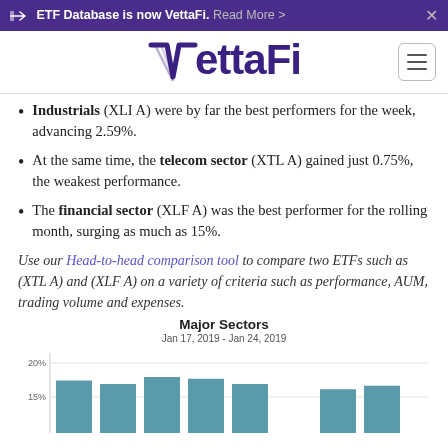ETF Database is now VettaFi. Read More >
[Figure (logo): VettaFi logo in dark purple with stylized V]
Industrials (XLI A) were by far the best performers for the week, advancing 2.59%.
At the same time, the telecom sector (XTL A) gained just 0.75%, the weakest performance.
The financial sector (XLF A) was the best performer for the rolling month, surging as much as 15%.
Use our Head-to-head comparison tool to compare two ETFs such as (XTL A) and (XLF A) on a variety of criteria such as performance, AUM, trading volume and expenses.
[Figure (bar-chart): Major Sectors]